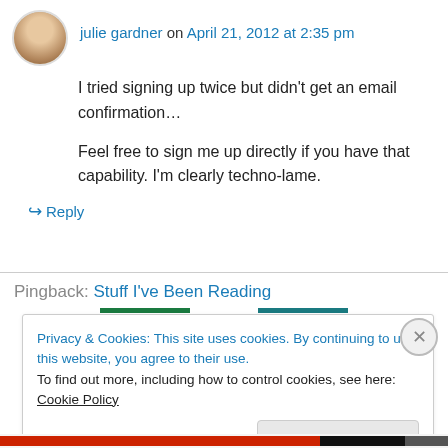julie gardner on April 21, 2012 at 2:35 pm
I tried signing up twice but didn’t get an email confirmation…
Feel free to sign me up directly if you have that capability. I’m clearly techno-lame.
↪ Reply
Pingback: Stuff I’ve Been Reading
Privacy & Cookies: This site uses cookies. By continuing to use this website, you agree to their use.
To find out more, including how to control cookies, see here: Cookie Policy
Close and accept